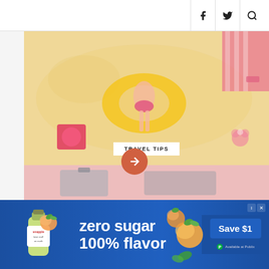Social media icons: Facebook, Twitter, Search
[Figure (photo): Overhead view of person lying on sandy beach with yellow inflatable ring, pink accessories, and beach items. White badge overlay reads TRAVEL TIPS.]
TRAVEL TIPS
6 ESSENTIAL TRAVEL WARDROBE PIECES FOR WOMEN
August 11, 2022
[Figure (photo): Partial preview of next article showing luggage/suitcase, with orange circular navigation button]
[Figure (infographic): Snapple advertisement banner: zero sugar 100% flavor, Save $1, Available at Publix]